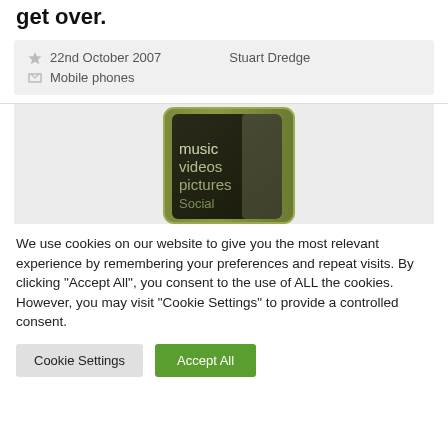get over.
22nd October 2007   Stuart Dredge
Mobile phones
[Figure (photo): Photo of a Zune media player device (olive/green color) showing a screen with menu items: music, videos, pictures, Social]
We use cookies on our website to give you the most relevant experience by remembering your preferences and repeat visits. By clicking "Accept All", you consent to the use of ALL the cookies. However, you may visit "Cookie Settings" to provide a controlled consent.
Cookie Settings   Accept All